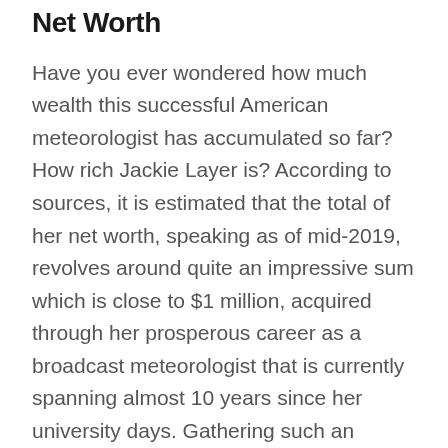Net Worth
Have you ever wondered how much wealth this successful American meteorologist has accumulated so far? How rich Jackie Layer is? According to sources, it is estimated that the total of her net worth, speaking as of mid-2019, revolves around quite an impressive sum which is close to $1 million, acquired through her prosperous career as a broadcast meteorologist that is currently spanning almost 10 years since her university days. Gathering such an imposing amount of wealth in such a period is considered to be an astonishing accomplishment.